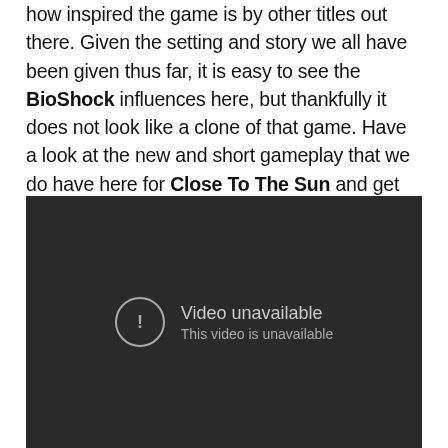how inspired the game is by other titles out there. Given the setting and story we all have been given thus far, it is easy to see the BioShock influences here, but thankfully it does not look like a clone of that game. Have a look at the new and short gameplay that we do have here for Close To The Sun and get ready to see more information dump out there in the near future.
[Figure (screenshot): Embedded video player showing an error message: 'Video unavailable — This video is unavailable' with a circle exclamation mark icon on a dark background.]